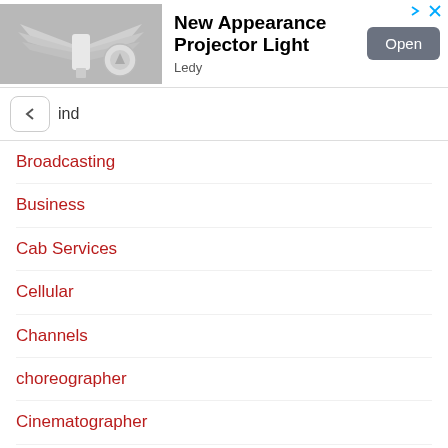[Figure (photo): Advertisement banner showing a projector light bulb with wing-like fins on a gray background, with an Open button and close/forward icons]
New Appearance Projector Light
Ledy
ind
Broadcasting
Business
Cab Services
Cellular
Channels
choreographer
Cinematographer
Clubs & Disks
Colleges
Comedian
Consulting